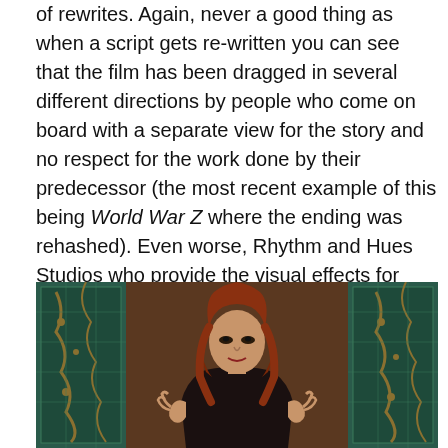of rewrites. Again, never a good thing as when a script gets re-written you can see that the film has been dragged in several different directions by people who come on board with a separate view for the story and no respect for the work done by their predecessor (the most recent example of this being World War Z where the ending was rehashed). Even worse, Rhythm and Hues Studios who provide the visual effects for Seventh Son actually went bankrupt while working on the film; Legendary Pictures agreed to give $5million to the company to help them finish their work so this may or may not have hindered the project.
[Figure (photo): Movie still showing a woman with long red hair against a decorative tiled/mosaic wall backdrop, hands raised slightly in front of her]